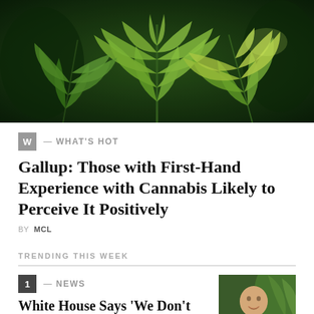[Figure (photo): Close-up photo of cannabis/marijuana leaves with green foliage against a dark background]
W — WHAT'S HOT
Gallup: Those with First-Hand Experience with Cannabis Likely to Perceive It Positively
BY MCL
TRENDING THIS WEEK
1 — NEWS
White House Says 'We Don't Have Anything' To Report On Biden's Marijuana Campaign Promises As Senate Candidate Presses For Action
[Figure (photo): Photo of a man in a suit smiling, with cannabis plant visible in background]